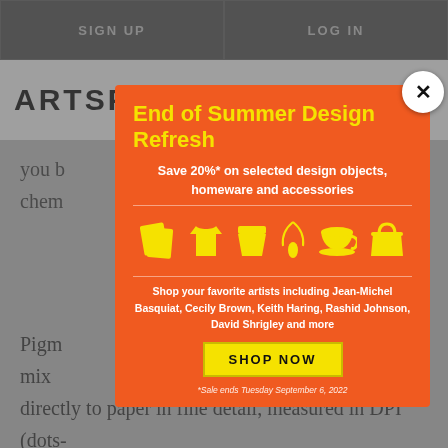SIGN UP  |  LOG IN
ARTSPACE
you ... chem...
[Figure (screenshot): Modal popup advertisement on an Artspace website. Orange background with yellow title text 'End of Summer Design Refresh'. White subtitle 'Save 20%* on selected design objects, homeware and accessories'. Yellow icons: papers/book, t-shirt, shorts, necklace, teacup, tote bag. Text below icons: 'Shop your favorite artists including Jean-Michel Basquiat, Cecily Brown, Keith Haring, Rashid Johnson, David Shrigley and more'. Yellow 'SHOP NOW' button. Footer: '*Sale ends Tuesday September 6, 2022'. White X close button top right.]
Pigm... which mix ... ed directly to paper in fine detail, measured in DPI (dots-per-inch). If you own a printer that uses ink cartridges,